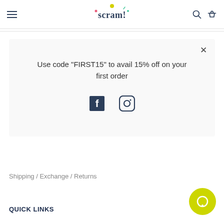scram!
Use code "FIRST15" to avail 15% off on your first order
[Figure (logo): Facebook and Instagram social media icons]
Shipping / Exchange / Returns
QUICK LINKS